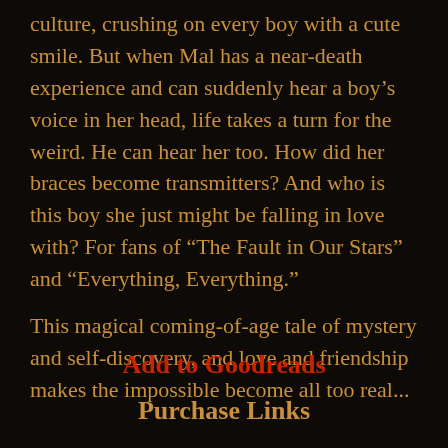culture, crushing on every boy with a cute smile. But when Mal has a near-death experience and can suddenly hear a boy’s voice in her head, life takes a turn for the weird. He can hear her too. How did her braces become transmitters? And who is this boy she just might be falling in love with? For fans of “The Fault in Our Stars” and “Everything, Everything.”
This magical coming-of-age tale of mystery and self-discovery, and love and friendship makes the impossible become all too real...
Add to Goodreads
Purchase Links